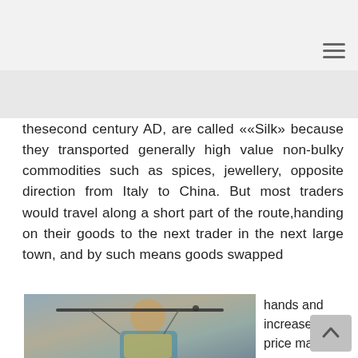thesecond century AD, are called ««Silk» because they transported generally high value non-bulky commodities such as spices, jewellery, opposite direction from Italy to China. But most traders would travel along a short part of the route,handing on their goods to the next trader in the next large town, and by such means goods swapped
[Figure (photo): A person sitting or reclining, wearing colorful clothing, photographed in front of a plain background. The image is partially visible at the bottom of the page.]
hands and increased in price many